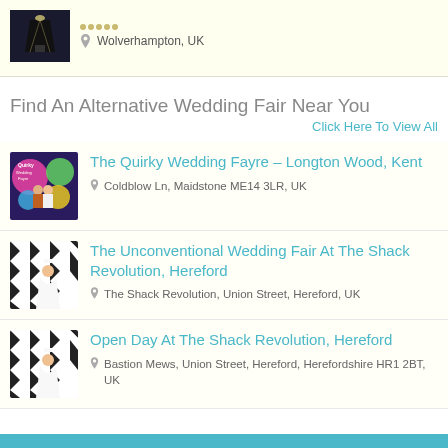[Figure (photo): Dark stage photo thumbnail with spotlight]
Wolverhampton, UK
Find An Alternative Wedding Fair Near You
Click Here To View All
[Figure (photo): Quirky Wedding Fayre colorful thumbnail with couple]
The Quirky Wedding Fayre – Longton Wood, Kent
Coldblow Ln, Maidstone ME14 3LR, UK
[Figure (photo): Black and white zigzag pattern with bride - Shack Revolution]
The Unconventional Wedding Fair At The Shack Revolution, Hereford
The Shack Revolution, Union Street, Hereford, UK
[Figure (photo): Black and white zigzag pattern with bride - Shack Revolution open day]
Open Day At The Shack Revolution, Hereford
Bastion Mews, Union Street, Hereford, Herefordshire HR1 2BT, UK